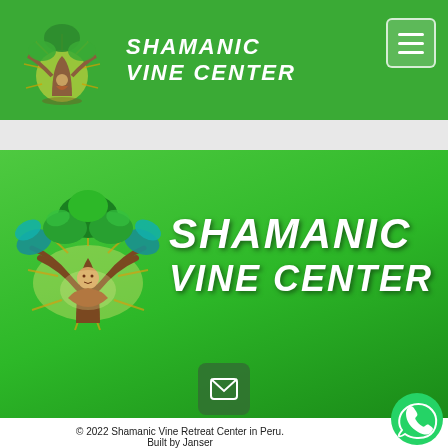SHAMANIC VINE CENTER
[Figure (logo): Shamanic Vine Center logo with tree, meditating figure, and sun rays]
SHAMANIC VINE CENTER
[Figure (illustration): Email contact button icon]
© 2022 Shamanic Vine Retreat Center in Peru. Built by Janser